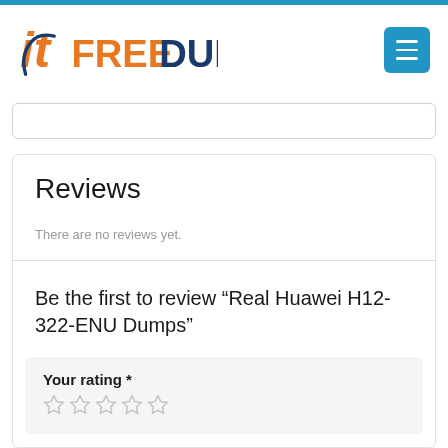[Figure (logo): itFreeDumps logo with orange and blue text]
Reviews
There are no reviews yet.
Be the first to review “Real Huawei H12-322-ENU Dumps”
Your rating *